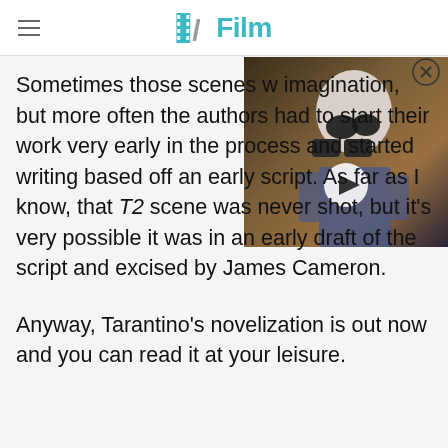/Film
[Figure (photo): Video thumbnail showing an older man with white hair and goggles/binoculars, with a play button overlay. Appears to be a still from a movie.]
Sometimes those scenes w imagination, but more often the authors had to start their work very early in the process and started writing based off an early script. As far as I know, that T2 scene was never shot, but it's very possible it was in an early draft of the script and excised by James Cameron.

Anyway, Tarantino's novelization is out now and you can read it at your leisure.